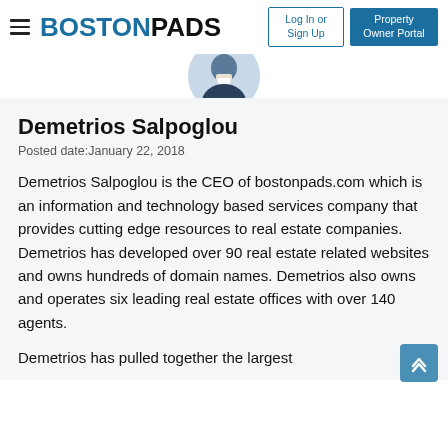BOSTONPADS | Log In or Sign Up | Property Owner Portal
[Figure (photo): Circular profile photo of Demetrios Salpoglou in a suit, partially visible at top]
Demetrios Salpoglou
Posted date:January 22, 2018
Demetrios Salpoglou is the CEO of bostonpads.com which is an information and technology based services company that provides cutting edge resources to real estate companies. Demetrios has developed over 90 real estate related websites and owns hundreds of domain names. Demetrios also owns and operates six leading real estate offices with over 140 agents.
Demetrios has pulled together the largest